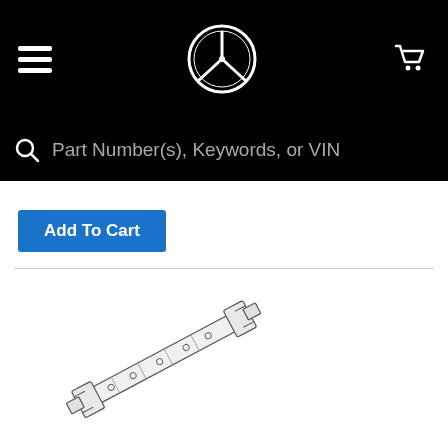Mercedes-Benz parts store header with hamburger menu, star logo, and cart icon
Part Number(s), Keywords, or VIN
Add To Cart
[Figure (illustration): Mercedes-Benz Front Rail part illustration – a long diagonal bracket/rail component shown in line drawing style]
Front Rail
000-910-13-27
Front Rail, Left
Sedan, with memory.
Mercedes-Benz of Chantilly
$39.50
Add To Cart